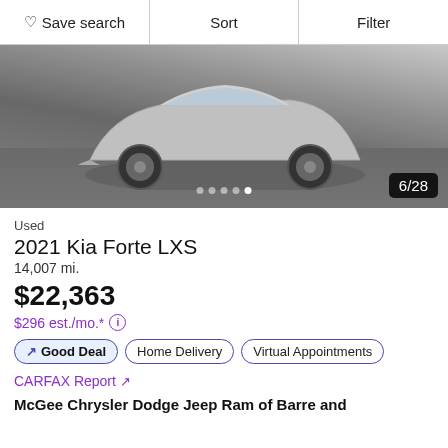Save search  Sort  Filter
[Figure (photo): Photo of a silver 2021 Kia Forte LXS showing the front and wheel area on a cracked asphalt surface. Image counter shows 6/28 in bottom right. Dot navigation indicators visible at bottom center.]
Used
2021 Kia Forte LXS
14,007 mi.
$22,363
$296 est./mo.* ⓘ
↗ Good Deal  Home Delivery  Virtual Appointments
CARFAX Report ↗
McGee Chrysler Dodge Jeep Ram of Barre and Montpelier